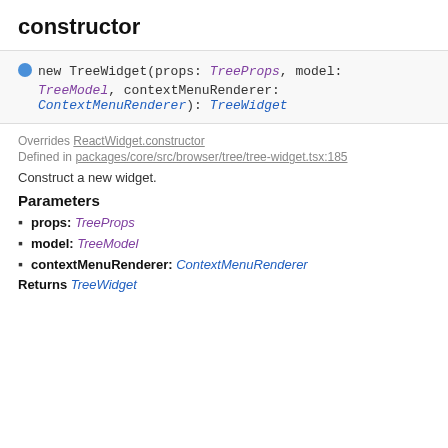constructor
new TreeWidget(props: TreeProps, model: TreeModel, contextMenuRenderer: ContextMenuRenderer): TreeWidget
Overrides ReactWidget.constructor
Defined in packages/core/src/browser/tree/tree-widget.tsx:185
Construct a new widget.
Parameters
props: TreeProps
model: TreeModel
contextMenuRenderer: ContextMenuRenderer
Returns TreeWidget